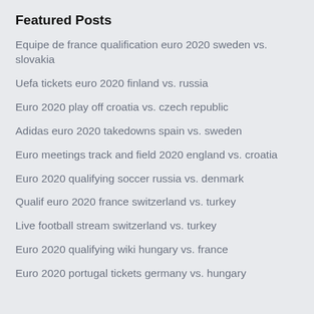Featured Posts
Equipe de france qualification euro 2020 sweden vs. slovakia
Uefa tickets euro 2020 finland vs. russia
Euro 2020 play off croatia vs. czech republic
Adidas euro 2020 takedowns spain vs. sweden
Euro meetings track and field 2020 england vs. croatia
Euro 2020 qualifying soccer russia vs. denmark
Qualif euro 2020 france switzerland vs. turkey
Live football stream switzerland vs. turkey
Euro 2020 qualifying wiki hungary vs. france
Euro 2020 portugal tickets germany vs. hungary